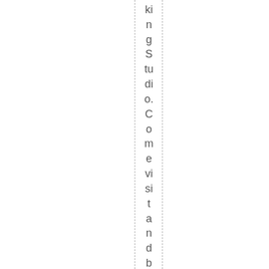kingStudio.Come visit and be inspired